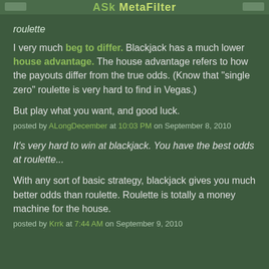ASk MetaFilter
roulette
I very much beg to differ. Blackjack has a much lower house advantage. The house advantage refers to how the payouts differ from the true odds. (Know that "single zero" roulette is very hard to find in Vegas.)
But play what you want, and good luck.
posted by ALongDecember at 10:03 PM on September 8, 2010
It's very hard to win at blackjack. You have the best odds at roulette...
With any sort of basic strategy, blackjack gives you much better odds than roulette. Roulette is totally a money machine for the house.
posted by Krrk at 7:44 AM on September 9, 2010